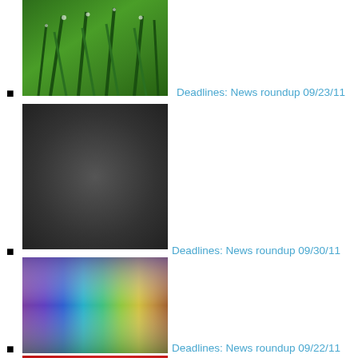Deadlines: News roundup 09/23/11
[Figure (photo): Close-up photo of green grass blades with water droplets]
Deadlines: News roundup 09/30/11
[Figure (photo): Dark gray/black smooth gradient background]
Deadlines: News roundup 09/22/11
[Figure (photo): Colorful rainbow gradient abstract image with vertical streaks of purple, blue, teal, green, yellow]
[Figure (photo): Red textured surface, partially visible at bottom of page]